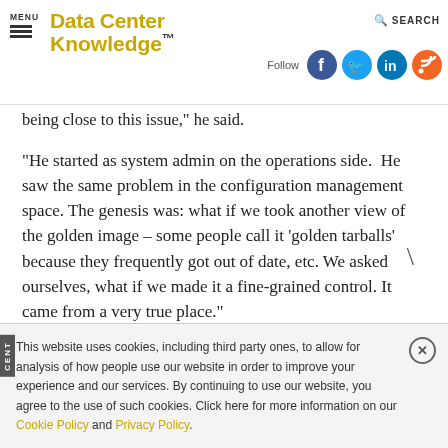MENU | DataCenter Knowledge. | Follow | SEARCH
being close to this issue," he said.
"He started as system admin on the operations side.  He saw the same problem in the configuration management space. The genesis was: what if we took another view of the golden image – some people call it 'golden tarballs' because they frequently got out of date, etc. We asked ourselves, what if we made it a fine-grained control. It came from a very true place."
This website uses cookies, including third party ones, to allow for analysis of how people use our website in order to improve your experience and our services. By continuing to use our website, you agree to the use of such cookies. Click here for more information on our Cookie Policy and Privacy Policy.